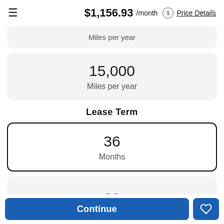$1,156.93 /month  Price Details
Miles per year
15,000
Miles per year
Lease Term
36
Months
39
Continue